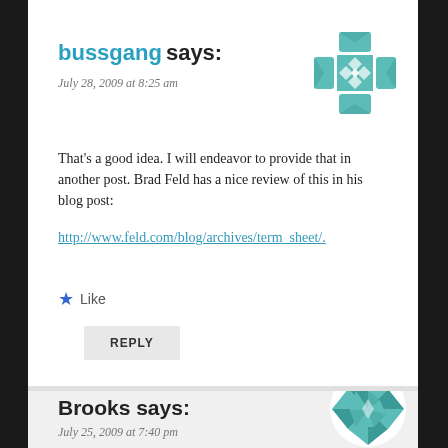bussgang says:
July 28, 2009 at 8:25 am
[Figure (illustration): Teal geometric/quilt pattern avatar icon for user bussgang]
That's a good idea. I will endeavor to provide that in another post. Brad Feld has a nice review of this in his blog post: http://www.feld.com/blog/archives/term_sheet/.
Like
REPLY
Brooks says:
July 25, 2009 at 7:40 pm
[Figure (illustration): Teal geometric/quilt pattern avatar icon for user Brooks]